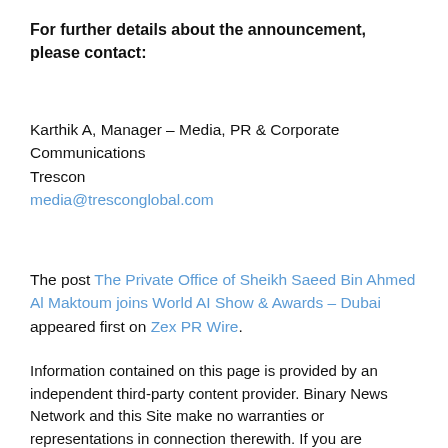For further details about the announcement, please contact:
Karthik A, Manager – Media, PR & Corporate Communications
Trescon
media@tresconglobal.com
The post The Private Office of Sheikh Saeed Bin Ahmed Al Maktoum joins World AI Show & Awards – Dubai appeared first on Zex PR Wire.
Information contained on this page is provided by an independent third-party content provider. Binary News Network and this Site make no warranties or representations in connection therewith. If you are affiliated with this page and would like it removed please contact contact@binarynewsnetwork.com